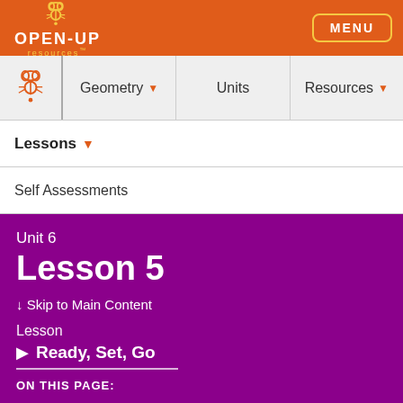OPEN-UP resources MENU
Geometry | Units | Resources
Lessons ▼
Self Assessments
Unit 6
Lesson 5
↓ Skip to Main Content
Lesson
▶ Ready, Set, Go
ON THIS PAGE: